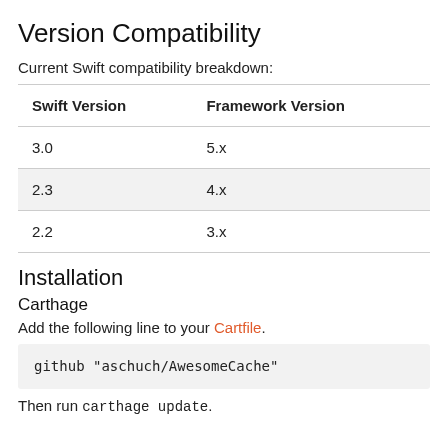Version Compatibility
Current Swift compatibility breakdown:
| Swift Version | Framework Version |
| --- | --- |
| 3.0 | 5.x |
| 2.3 | 4.x |
| 2.2 | 3.x |
Installation
Carthage
Add the following line to your Cartfile.
github "aschuch/AwesomeCache"
Then run carthage update.